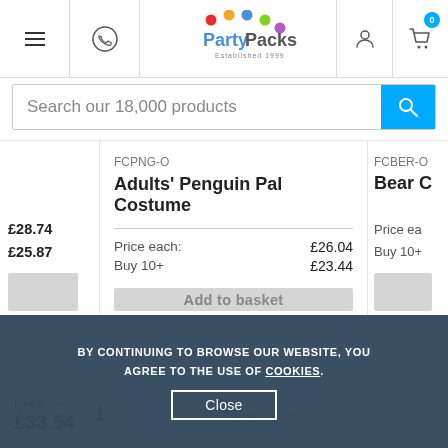PartyPacks — Established 1999
Search our 18,000 products
FCPNG-O
Adults' Penguin Pal Costume
Price each: £26.04
Buy 10+ £23.44
Add to basket
FCBER-O
Bear C...
Price ea...
Buy 10+
£28.74
£25.87
BY CONTINUING TO BROWSE OUR WEBSITE, YOU AGREE TO THE USE OF COOKIES.
Close
Price each:
£33.54
1
select an option